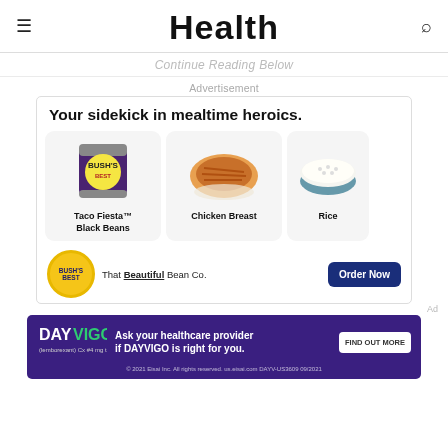Health
Continue Reading Below
Advertisement
[Figure (infographic): Bush's Best advertisement: 'Your sidekick in mealtime heroics.' showing Taco Fiesta Black Beans, Chicken Breast, and Rice product cards, with Bush's Best logo, 'That Beautiful Bean Co.' tagline, and 'Order Now' button]
[Figure (infographic): DAYVIGO pharmaceutical advertisement: 'Ask your healthcare provider if DAYVIGO is right for you.' with Find Out More button and disclaimer text]